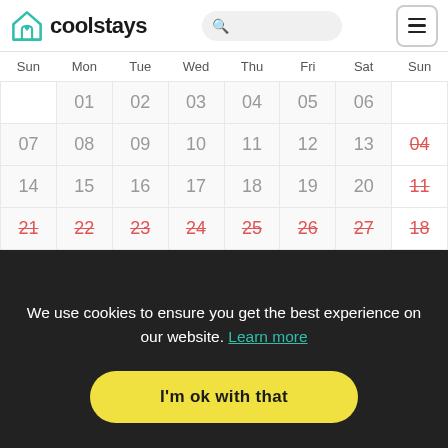coolstays
| Sun | Mon | Tue | Wed | Thu | Fri | Sat | Sun |
| --- | --- | --- | --- | --- | --- | --- | --- |
|  | 01 | 02 | 03 | 04 | 05 | 06 |  |
| 07 | 08 | 09 | 10 | 11 | 12 | 13 | 04 (struck) |
| 14 | 15 | 16 | 17 | 18 | 19 | 20 | 11 (struck) |
| 21 (struck) | 22 (struck) | 23 (struck) | 24 (struck) | 25 (struck) | 26 (struck) | 27 (struck) | 18 (struck) |
We use cookies to ensure you get the best experience on our website. Learn more
I'm ok with that